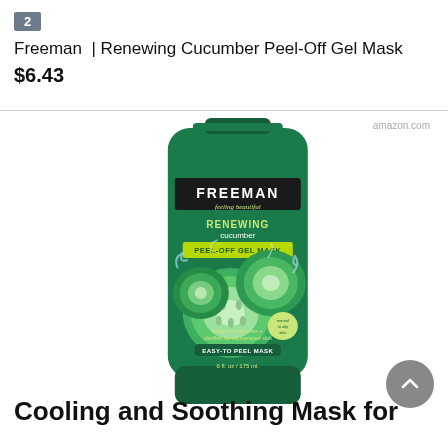2
Freeman | Renewing Cucumber Peel-Off Gel Mask
$6.43
[Figure (photo): Green tube of Freeman Feeling Beautiful Renewing Cucumber Peel-Off Gel Mask with cucumber slices and water splash imagery on the packaging. 6 fl. oz / 175 ml.]
amazon.com
Cooling and Soothing Mask for...